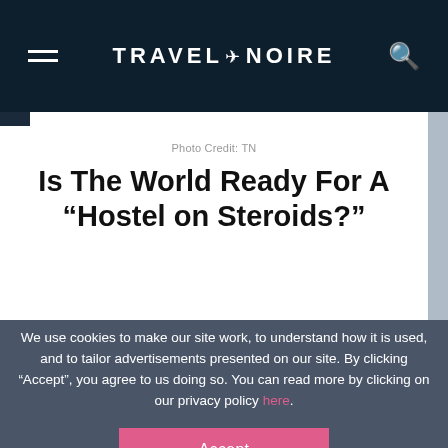TRAVEL+NOIRE
Photo Credit: TN
Is The World Ready For A “Hostel on Steroids?”
We use cookies to make our site work, to understand how it is used, and to tailor advertisements presented on our site. By clicking “Accept”, you agree to us doing so. You can read more by clicking on our privacy policy here.